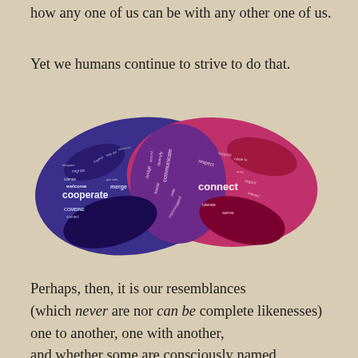how any one of us can be with any other one of us.
Yet we humans continue to strive to do that.
[Figure (illustration): A word-cloud handshake image: two hands clasped together, one blue/purple and one red/magenta, filled with cooperation-related words such as 'cooperate', 'welcome', 'combine', 'connect', 'merge', 'bridge', 'assist', 'communicate', 'blend', 'respect', 'relate to', 'connect', 'serve'.]
Perhaps, then, it is our resemblances
(which never are nor can be complete likenesses)
one to another, one with another,
and whether some are consciously named